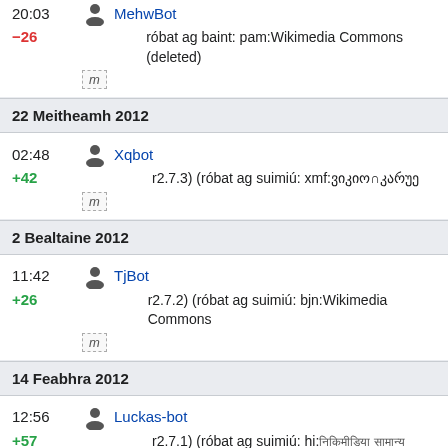20:03 MehwBot
-26
róbat ag baint: pam:Wikimedia Commons (deleted)
m
22 Meitheamh 2012
02:48 Xqbot
+42
r2.7.3) (róbat ag suimiú: xmf:ვიკიო∩კარუე
m
2 Bealtaine 2012
11:42 TjBot
+26
r2.7.2) (róbat ag suimiú: bjn:Wikimedia Commons
m
14 Feabhra 2012
12:56 Luckas-bot
+57
r2.7.1) (róbat ag suimiú: hi:...